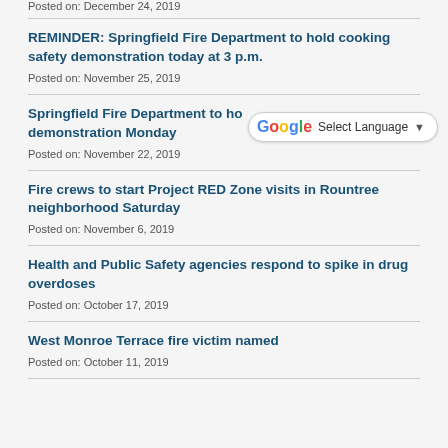Posted on: December 24, 2019
REMINDER: Springfield Fire Department to hold cooking safety demonstration today at 3 p.m.
Posted on: November 25, 2019
Springfield Fire Department to hold demonstration Monday
Posted on: November 22, 2019
Fire crews to start Project RED Zone visits in Rountree neighborhood Saturday
Posted on: November 6, 2019
Health and Public Safety agencies respond to spike in drug overdoses
Posted on: October 17, 2019
West Monroe Terrace fire victim named
Posted on: October 11, 2019